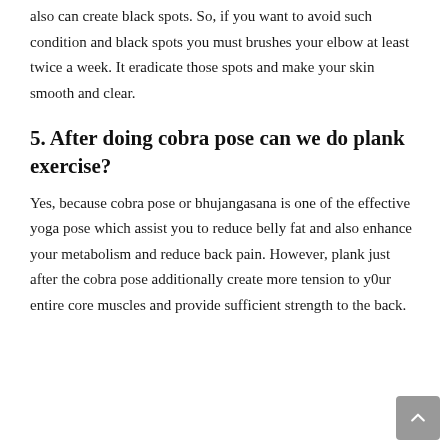also can create black spots. So, if you want to avoid such condition and black spots you must brushes your elbow at least twice a week. It eradicate those spots and make your skin smooth and clear.
5. After doing cobra pose can we do plank exercise?
Yes, because cobra pose or bhujangasana is one of the effective yoga pose which assist you to reduce belly fat and also enhance your metabolism and reduce back pain. However, plank just after the cobra pose additionally create more tension to y0ur entire core muscles and provide sufficient strength to the back.